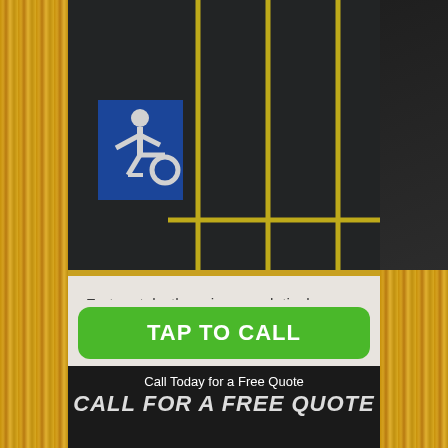[Figure (photo): Overhead view of a dark asphalt parking lot with bright yellow striping lines and a blue handicap accessibility symbol painted on the pavement.]
Fortunately, there is one relatively easy way to improve the condition of your property. Even if you can't afford entirely new pavement, chances are you can afford to have your existing parking lot repaired and have a new coat of striping added. You'll be amazed at the difference and so will your potential tenants or customers!
TAP TO CALL
Call Today for a Free Quote